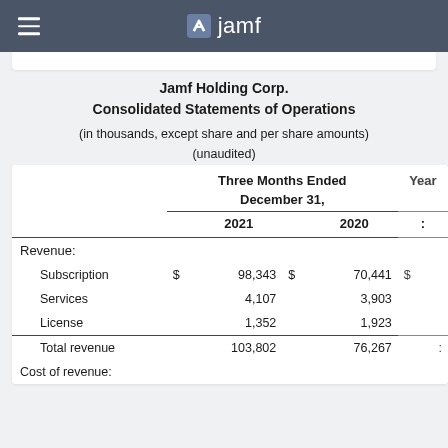jamf
Jamf Holding Corp.
Consolidated Statements of Operations
(in thousands, except share and per share amounts) (unaudited)
|  |  | Three Months Ended December 31, 2021 | Three Months Ended December 31, 2020 | Year... |
| --- | --- | --- | --- | --- |
| Revenue: |  |  |  |  |
| Subscription | $ | 98,343 | $ | 70,441 | $ |  |
| Services |  | 4,107 |  | 3,903 |  |  |
| License |  | 1,352 |  | 1,923 |  |  |
| Total revenue |  | 103,802 |  | 76,267 |  |  |
| Cost of revenue: |  |  |  |  |